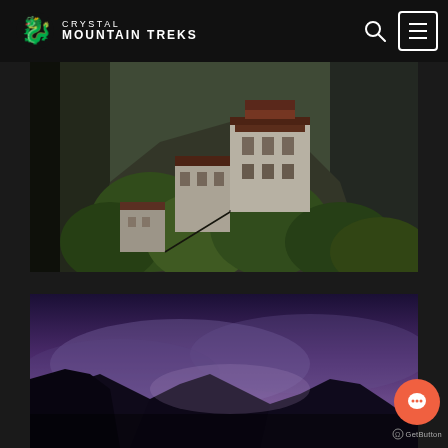Crystal Mountain Treks
[Figure (photo): Tiger's Nest monastery (Paro Taktsang) in Bhutan, white and brown traditional buildings perched on a steep green forested cliff face]
[Figure (photo): Purple and dark misty mountain landscape at dusk with silhouetted peaks and atmospheric haze]